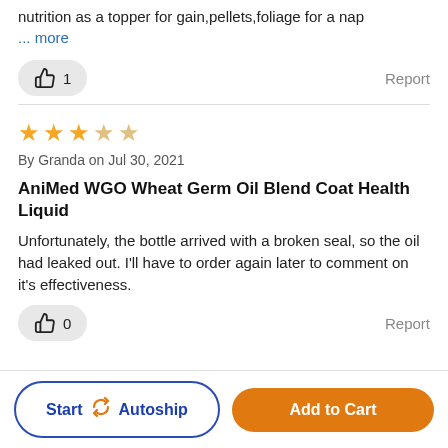nutrition as a topper for gain,pellets,foliage for a nap
... more
1
Report
★★★☆☆
By Granda on Jul 30, 2021
AniMed WGO Wheat Germ Oil Blend Coat Health Liquid
Unfortunately, the bottle arrived with a broken seal, so the oil had leaked out. I'll have to order again later to comment on it's effectiveness.
0
Report
Start ↻ Autoship
Add to Cart